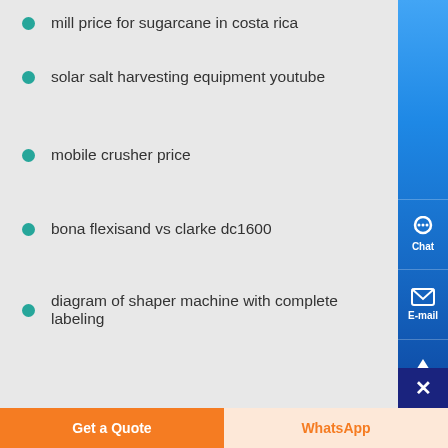mill price for sugarcane in costa rica
solar salt harvesting equipment youtube
mobile crusher price
bona flexisand vs clarke dc1600
diagram of shaper machine with complete labeling
[Figure (logo): Mining Machinery company logo with blue arch/building icon and bold blue text 'MINING MACHINERY']
Chat
E-mail
Top
Get a Quote
WhatsApp